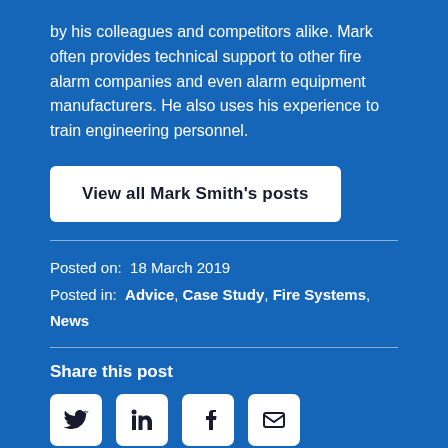by his colleagues and competitors alike. Mark often provides technical support to other fire alarm companies and even alarm equipment manufacturers. He also uses his experience to train engineering personnel.
View all Mark Smith's posts
Posted on:  18 March 2019
Posted in:  Advice, Case Study, Fire Systems, News
Share this post
[Figure (infographic): Social sharing icons: Twitter, LinkedIn, Facebook, Email]